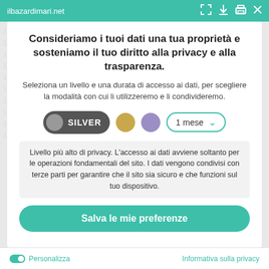ilbazardimari.net
Consideriamo i tuoi dati una tua proprietà e sosteniamo il tuo diritto alla privacy e alla trasparenza.
Seleziona un livello e una durata di accesso ai dati, per scegliere la modalità con cui li utilizzeremo e li condivideremo.
[Figure (infographic): Privacy level selector showing SILVER toggle pill (dark grey with grey circle), gold dot, purple dot, and '1 mese' dropdown with teal border]
Livello più alto di privacy. L'accesso ai dati avviene soltanto per le operazioni fondamentali del sito. I dati vengono condivisi con terze parti per garantire che il sito sia sicuro e che funzioni sul tuo dispositivo.
Salva le mie preferenze
Personalizza   Informativa sulla privacy